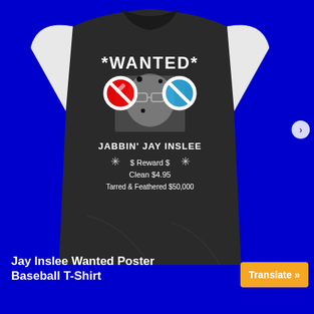[Figure (photo): A baseball-style raglan T-shirt with white sleeves and dark body, displayed on a bright blue background. The shirt features a 'WANTED' poster design on the front with the text 'JABBIN' JAY INSLEE', reward amounts, and circular anti-symbol graphics overlaid on a person's photo.]
Jay Inslee Wanted Poster Baseball T-Shirt